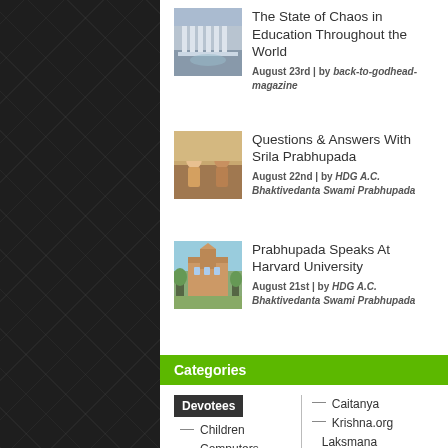[Figure (photo): Thumbnail of a classical building with columns (university/library)]
The State of Chaos in Education Throughout the World
August 23rd | by back-to-godhead-magazine
[Figure (photo): Thumbnail showing people/devotees engaged in activity]
Questions & Answers With Srila Prabhupada
August 22nd | by HDG A.C. Bhaktivedanta Swami Prabhupada
[Figure (photo): Thumbnail of Harvard University building with green trees]
Prabhupada Speaks At Harvard University
August 21st | by HDG A.C. Bhaktivedanta Swami Prabhupada
Categories
Devotees
Children
Computers
Deity Worship
Caitanya
Krishna.org
Laksmana and Hanuman